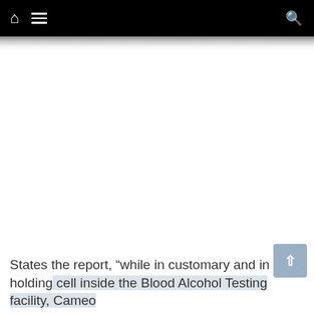Navigation bar with home, menu, and search icons
[Figure (screenshot): Large blank/white content area representing a webpage image placeholder]
States the report, “while in customary and in a holding cell inside the Blood Alcohol Testing facility, Cameo...